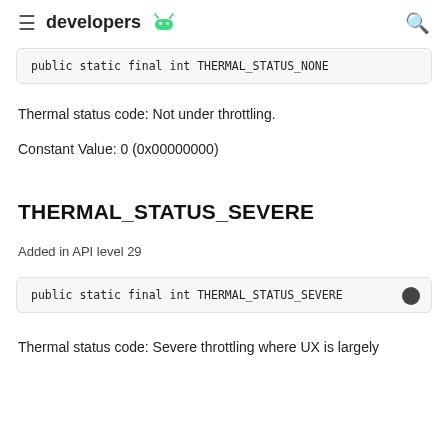developers
public static final int THERMAL_STATUS_NONE
Thermal status code: Not under throttling.
Constant Value: 0 (0x00000000)
THERMAL_STATUS_SEVERE
Added in API level 29
public static final int THERMAL_STATUS_SEVERE
Thermal status code: Severe throttling where UX is largely